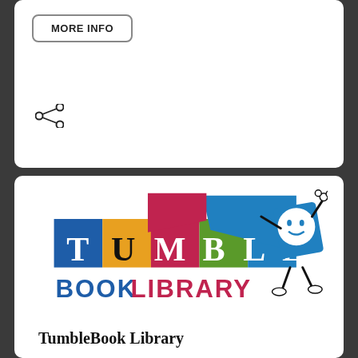MORE INFO
[Figure (logo): Share icon (three connected dots forming share symbol)]
[Figure (logo): TumbleBook Library logo with colorful book character and text 'TUMBLE BOOK LIBRARY']
TumbleBook Library
Enjoy animated talking picture books for children.
TumbleBook Library Tutorials